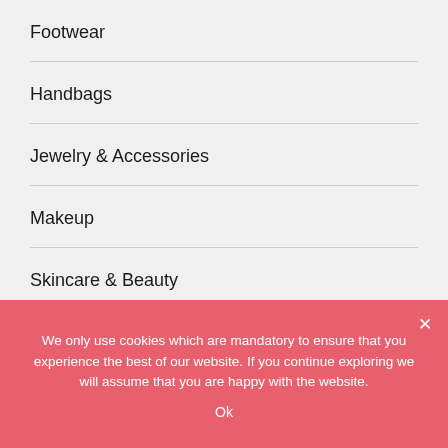Footwear
Handbags
Jewelry & Accessories
Makeup
Skincare & Beauty
Sunglasses
We only use cookies which are mandatory to ensure that you experience the best of our website. If you continue exploring we will assume that you are happy with the website.
Ok